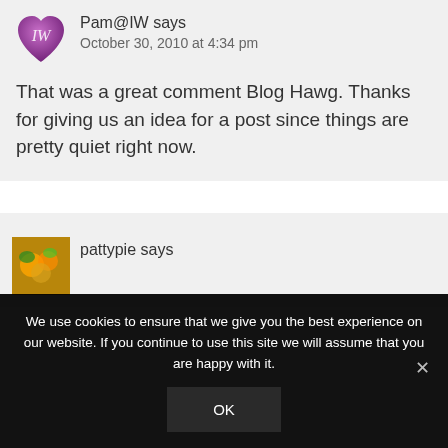[Figure (logo): Purple heart-shaped avatar with IW initials]
Pam@IW says
October 30, 2010 at 4:34 pm
That was a great comment Blog Hawg. Thanks for giving us an idea for a post since things are pretty quiet right now.
[Figure (photo): Food/floral photo avatar for pattypie]
pattypie says
We use cookies to ensure that we give you the best experience on our website. If you continue to use this site we will assume that you are happy with it.